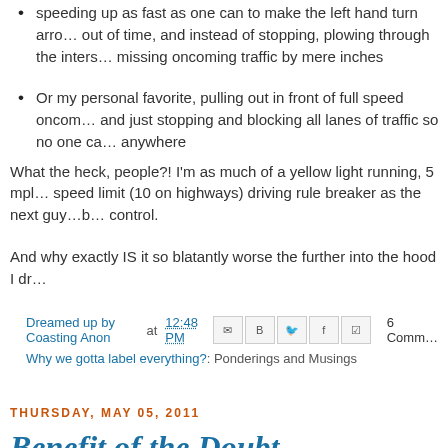speeding up as fast as one can to make the left hand turn arrow, running out of time, and instead of stopping, plowing through the intersection, missing oncoming traffic by mere inches
Or my personal favorite, pulling out in front of full speed oncoming traffic, and just stopping and blocking all lanes of traffic so no one can go anywhere
What the heck, people?! I'm as much of a yellow light running, 5 mph over the speed limit (10 on highways) driving rule breaker as the next guy...but there's a limit to crazy. People were out of control.
And why exactly IS it so blatantly worse the further into the hood I dr...
Dreamed up by Coasting Anon at 12:48 PM  6 Comments
Why we gotta label everything?: Ponderings and Musings
THURSDAY, MAY 05, 2011
Benefit of the Doubt